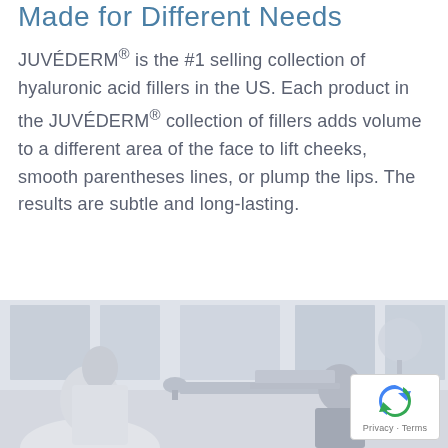Made for Different Needs
JUVÉDERM® is the #1 selling collection of hyaluronic acid fillers in the US. Each product in the JUVÉDERM® collection of fillers adds volume to a different area of the face to lift cheeks, smooth parentheses lines, or plump the lips. The results are subtle and long-lasting.
[Figure (photo): Grayscale photo of two people in an office or clinical setting, one seated at a desk with a laptop, viewed from behind a person in the foreground.]